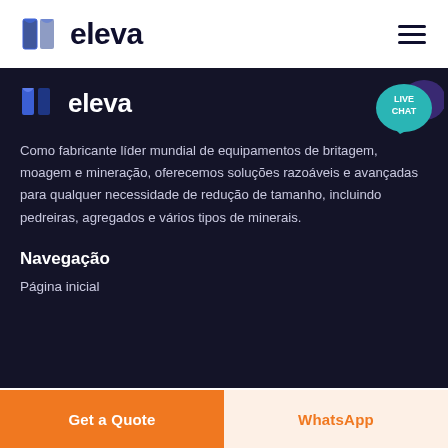eleva
[Figure (logo): Eleva brand logo with book-like icon and 'eleva' text on dark background]
Como fabricante líder mundial de equipamentos de britagem, moagem e mineração, oferecemos soluções razoáveis e avançadas para qualquer necessidade de redução de tamanho, incluindo pedreiras, agregados e vários tipos de minerais.
Navegação
Página inicial
Get a Quote
WhatsApp